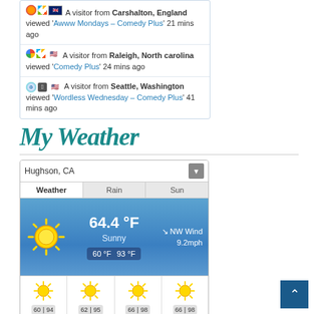A visitor from Carshalton, England viewed 'Awww Mondays – Comedy Plus' 21 mins ago
A visitor from Raleigh, North carolina viewed 'Comedy Plus' 24 mins ago
A visitor from Seattle, Washington viewed 'Wordless Wednesday – Comedy Plus' 41 mins ago
My Weather
[Figure (infographic): Weather widget showing Hughson, CA weather: 64.4°F Sunny, NW Wind 9.2mph, Low 60°F High 93°F. 4-day forecast: TUE 60/94, WED 62/95, THU 66/98, FRI 66/98. Timestamp 8:31 AM, WillyWeather branding.]